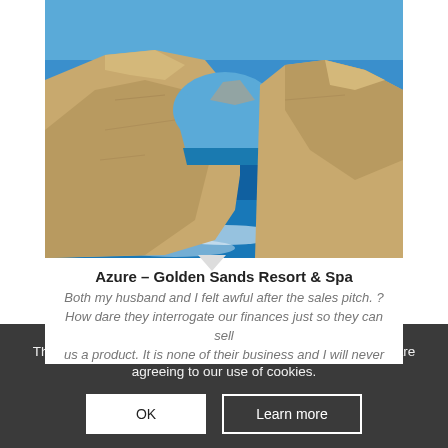[Figure (photo): Photograph of a natural limestone rock arch over the sea (Azure Window, Malta) with blue sky and turquoise waves crashing below]
Azure – Golden Sands Resort & Spa
Both my husband and I felt awful after the sales pitch. ? How dare they interrogate our finances just so they can sell us a product. It is none of their business and I will never
This site uses cookies. By continuing to browse the site, you are agreeing to our use of cookies.